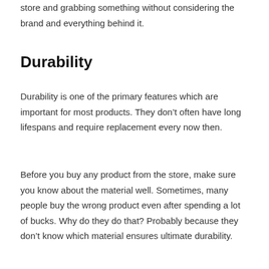store and grabbing something without considering the brand and everything behind it.
Durability
Durability is one of the primary features which are important for most products. They don’t often have long lifespans and require replacement every now then.
Before you buy any product from the store, make sure you know about the material well. Sometimes, many people buy the wrong product even after spending a lot of bucks. Why do they do that? Probably because they don’t know which material ensures ultimate durability.